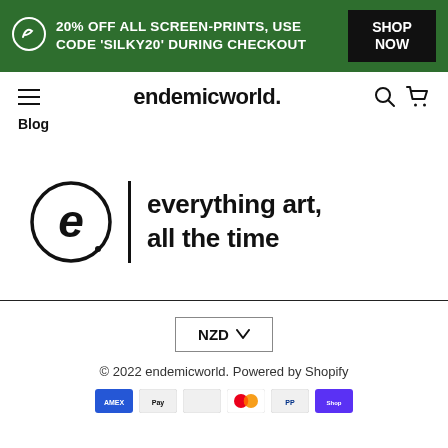20% OFF ALL SCREEN-PRINTS, USE CODE 'SILKY20' DURING CHECKOUT — SHOP NOW
endemicworld.
Blog
[Figure (logo): Endemic World logo with circle 'e' and tagline 'everything art, all the time']
NZD
© 2022 endemicworld. Powered by Shopify